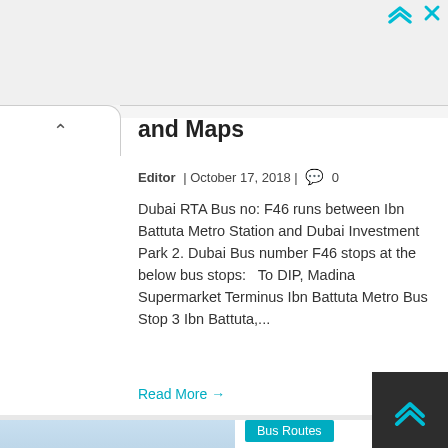[Figure (screenshot): Teal arrow icons in top-right corner (navigation/ad icons)]
and Maps
Editor | October 17, 2018 | 0
Dubai RTA Bus no: F46 runs between Ibn Battuta Metro Station and Dubai Investment Park 2. Dubai Bus number F46 stops at the below bus stops:   To DIP, Madina Supermarket Terminus Ibn Battuta Metro Bus Stop 3 Ibn Battuta,...
Read More →
[Figure (photo): Row of red and black city buses parked in a depot/parking area with blue sky]
Bus Routes
F44 Bus Route in Dubai – Time Schedule, S... and Maps